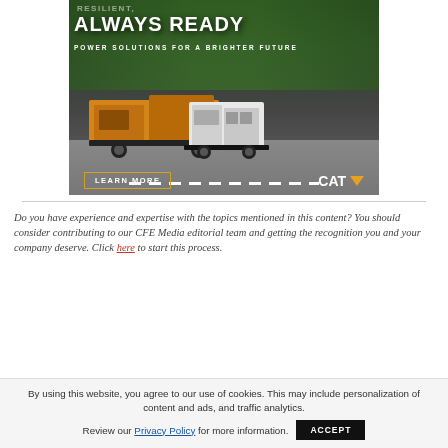[Figure (illustration): CAT (Caterpillar) advertisement banner showing industrial generators/power equipment on a street. Text reads: 'RESILIENT, ALWAYS READY' and 'POWER SOLUTIONS FOR A BRIGHTER FUTURE' with a 'LEARN MORE' button and CAT logo.]
Do you have experience and expertise with the topics mentioned in this content? You should consider contributing to our CFE Media editorial team and getting the recognition you and your company deserve. Click here to start this process.
By using this website, you agree to our use of cookies. This may include personalization of content and ads, and traffic analytics. Review our Privacy Policy for more information. ACCEPT